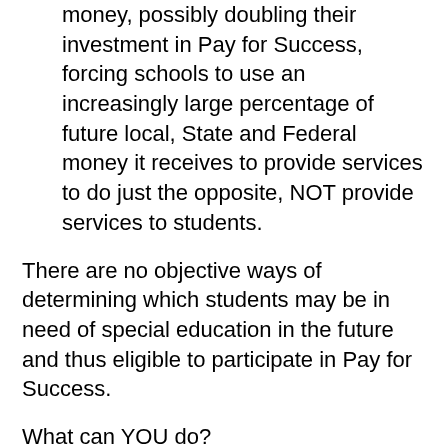structured in Chicago and Utah, investors would make money, possibly doubling their investment in Pay for Success, forcing schools to use an increasingly large percentage of future local, State and Federal money it receives to provide services to do just the opposite, NOT provide services to students.
There are no objective ways of determining which students may be in need of special education in the future and thus eligible to participate in Pay for Success.
What can YOU do?
(1) Share this email. Most people are not aware of Pay for Success.
Most people (even in D.C.) are not aware Pay for Success is in both the House and Senate ESEA bills, and will be in the FINAL ESEA bill unless a determined effort is made to remove it.
(2) Contact any National organization to which you belong. Ask them what they are doing about Pay for Success in